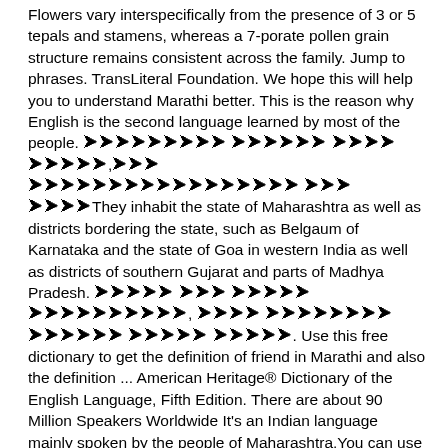Flowers vary interspecifically from the presence of 3 or 5 tepals and stamens, whereas a 7-porate pollen grain structure remains consistent across the family. Jump to phrases. TransLiteral Foundation. We hope this will help you to understand Marathi better. This is the reason why English is the second language learned by most of the people. [Marathi script] They inhabit the state of Maharashtra as well as districts bordering the state, such as Belgaum of Karnataka and the state of Goa in western India as well as districts of southern Gujarat and parts of Madhya Pradesh. [Marathi script]. Use this free dictionary to get the definition of friend in Marathi and also the definition ... American Heritage® Dictionary of the English Language, Fifth Edition. There are about 90 Million Speakers Worldwide It's an Indian language mainly spoken by the people of Maharashtra.You can use multibhashi to learn Marathi from English with just little efforts and Concentration. Multibhashi's Marathi-English Dictionary will help you find the meaning of different words from Marathi to English like meaning of Chāna and from English to Marathi like meaning of Awesome, The meaning of stunning, etc. Marathi definition, an Indic language of western and central India: the principal language of the state of Maharashtra. This light weight android application works